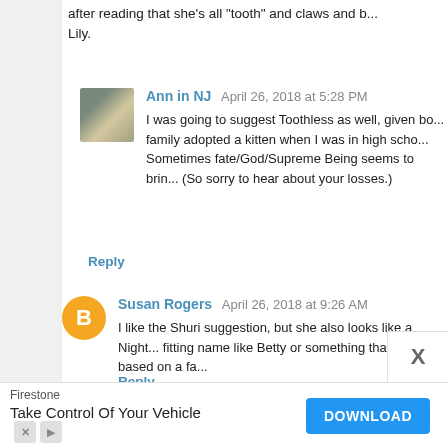after reading that she's all "tooth" and claws and b... Lily.
Ann in NJ  April 26, 2018 at 5:28 PM
I was going to suggest Toothless as well, given bo... family adopted a kitten when I was in high scho... Sometimes fate/God/Supreme Being seems to brin... (So sorry to hear about your losses.)
Reply
Susan Rogers  April 26, 2018 at 9:26 AM
I like the Shuri suggestion, but she also looks like a Night... fitting name like Betty or something that's not based on a fa...
Reply
C-Rella  April 26, 2018 at 9:28 AM
You could name her Rey (ray of sunshine, and, you k... lose your family members. :( Hugs.
[Figure (other): Advertisement banner: Firestone - Take Control Of Your Vehicle with DOWNLOAD button]